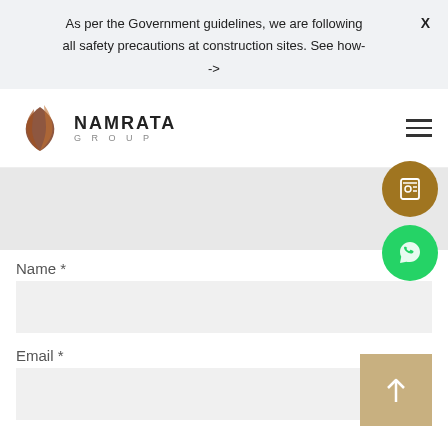As per the Government guidelines, we are following all safety precautions at construction sites. See how- ->
[Figure (logo): Namrata Group logo with brown leaf/flame icon and text NAMRATA GROUP]
[Figure (infographic): Website screenshot showing a contact form with Name and Email fields, floating brown contact button and green WhatsApp button, and a tan scroll-to-top arrow button]
Name *
Email *